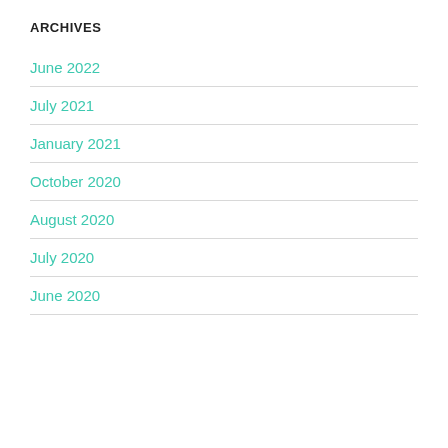ARCHIVES
June 2022
July 2021
January 2021
October 2020
August 2020
July 2020
June 2020